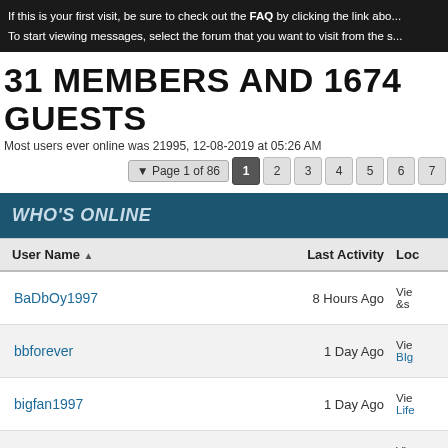If this is your first visit, be sure to check out the FAQ by clicking the link abo... To start viewing messages, select the forum that you want to visit from the s...
31 MEMBERS AND 1674 GUESTS
Most users ever online was 21995, 12-08-2019 at 05:26 AM
Page 1 of 86  1 2 3 4 5 6 7
WHO'S ONLINE
| User Name | Last Activity | Loc |
| --- | --- | --- |
| BaDbOy1997 | 8 Hours Ago | Vie &s |
| bbforever | 1 Day Ago | Vie BIg |
| bigfan1997 | 1 Day Ago | Vie Life |
| bluebum | 6 Days Ago | Vie B.l |